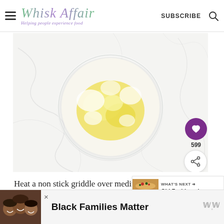Whisk Affair — Helping people experience food | SUBSCRIBE
[Figure (photo): Overhead view of a glass bowl with melted butter/eggs on a white marble surface]
Heat a non stick griddle over medium heat.
[Figure (photo): What's Next promo: Old Fashioned Pancakes with thumbnail of pancakes]
[Figure (photo): Advertisement banner: Black Families Matter with photo of smiling family]